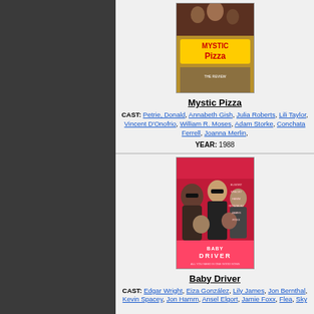[Figure (photo): Movie poster for Mystic Pizza]
Mystic Pizza
CAST: Petrie, Donald, Annabeth Gish, Julia Roberts, Lili Taylor, Vincent D'Onofrio, William R. Moses, Adam Storke, Conchata Ferrell, Joanna Merlin,
YEAR: 1988
[Figure (photo): Movie poster for Baby Driver]
Baby Driver
CAST: Edgar Wright, Eiza González, Lily James, Jon Bernthal, Kevin Spacey, Jon Hamm, Ansel Elgort, Jamie Foxx, Flea, Sky